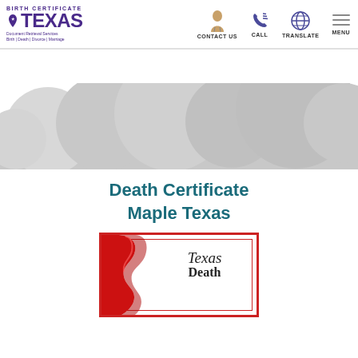BIRTH CERTIFICATE TEXAS — CONTACT US | CALL | TRANSLATE | MENU
[Figure (illustration): Cloud-shaped decorative banner with overlapping grey hill/cloud shapes on a white background]
Death Certificate Maple Texas
[Figure (illustration): Texas Death Certificate document preview with red border, red ribbon on left, and 'Texas Death' text in old English serif font]